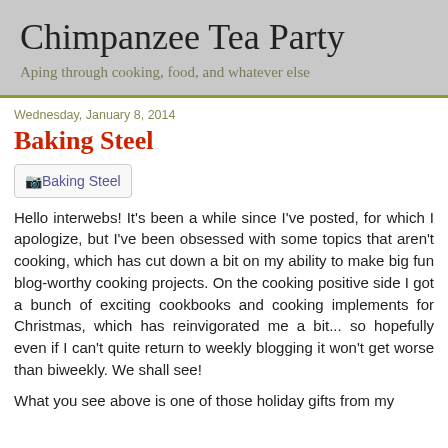Chimpanzee Tea Party
Aping through cooking, food, and whatever else
Wednesday, January 8, 2014
Baking Steel
[Figure (photo): Baking Steel image placeholder]
Hello interwebs! It's been a while since I've posted, for which I apologize, but I've been obsessed with some topics that aren't cooking, which has cut down a bit on my ability to make big fun blog-worthy cooking projects. On the cooking positive side I got a bunch of exciting cookbooks and cooking implements for Christmas, which has reinvigorated me a bit... so hopefully even if I can't quite return to weekly blogging it won't get worse than biweekly. We shall see!
What you see above is one of those holiday gifts from my